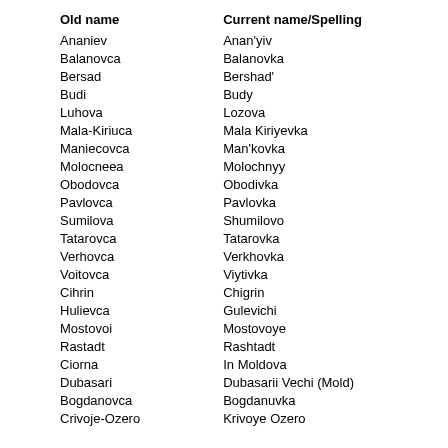| Old name | Current name/Spelling |
| --- | --- |
| Ananiev | Anan'yiv |
| Balanovca | Balanovka |
| Bersad | Bershad' |
| Budi | Budy |
| Luhova | Lozova |
| Mala-Kiriuca | Mala Kiriyevka |
| Maniecovca | Man'kovka |
| Molocneea | Molochnyy |
| Obodovca | Obodivka |
| Pavlovca | Pavlovka |
| Sumilova | Shumilovo |
| Tatarovca | Tatarovka |
| Verhovca | Verkhovka |
| Voitovca | Viytivka |
| Cihrin | Chigrin |
| Hulievca | Gulevichi |
| Mostovoi | Mostovoye |
| Rastadt | Rashtadt |
| Ciorna | In Moldova |
| Dubasari | Dubasarii Vechi (Mold) |
| Bogdanovca | Bogdanuvka |
| Crivoje-Ozero | Krivoye Ozero |